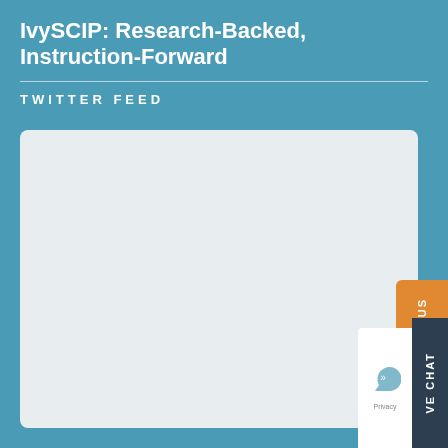IvySCIP: Research-Backed, Instruction-Forward
TWITTER FEED
[Figure (screenshot): Empty Twitter feed embed area with light gray rounded rectangle background]
CONTACT US
LIVE CHAT